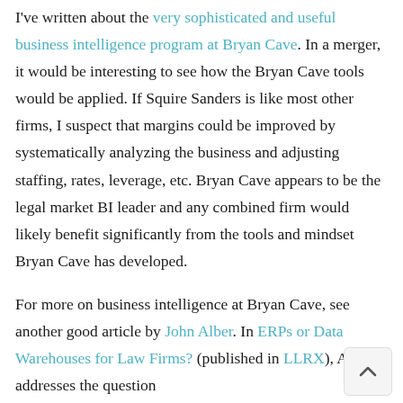I've written about the very sophisticated and useful business intelligence program at Bryan Cave. In a merger, it would be interesting to see how the Bryan Cave tools would be applied. If Squire Sanders is like most other firms, I suspect that margins could be improved by systematically analyzing the business and adjusting staffing, rates, leverage, etc. Bryan Cave appears to be the legal market BI leader and any combined firm would likely benefit significantly from the tools and mindset Bryan Cave has developed.

For more on business intelligence at Bryan Cave, see another good article by John Alber. In ERPs or Data Warehouses for Law Firms? (published in LLRX), Alber addresses the question